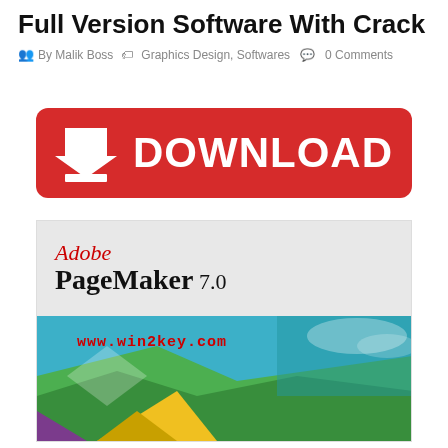Full Version Software With Crack
By Malik Boss   Graphics Design, Softwares   0 Comments
[Figure (other): Red download button with white download arrow icon and white text DOWNLOAD]
[Figure (other): Adobe PageMaker 7.0 product box image with colorful geometric shapes and watermark www.win2key.com]